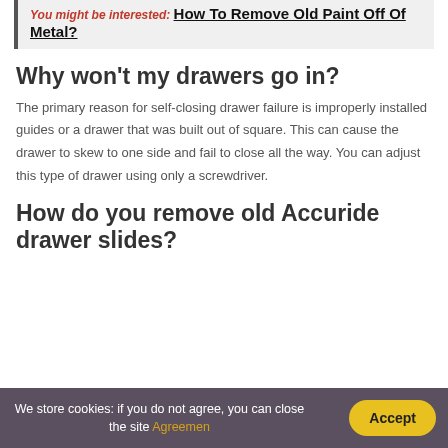You might be interested: How To Remove Old Paint Off Of Metal?
Why won't my drawers go in?
The primary reason for self-closing drawer failure is improperly installed guides or a drawer that was built out of square. This can cause the drawer to skew to one side and fail to close all the way. You can adjust this type of drawer using only a screwdriver.
How do you remove old Accuride drawer slides?
We store cookies: if you do not agree, you can close the site Agreemen